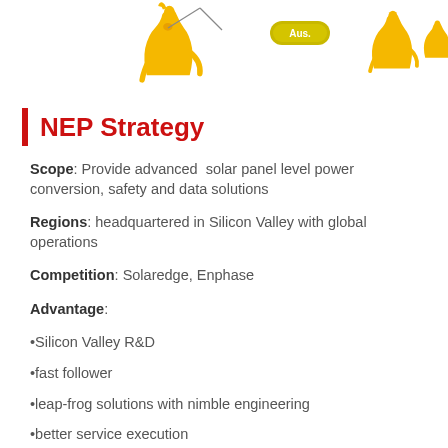[Figure (illustration): Yellow decorative illustration with kangaroo-like animals and a pill/label shape with text 'Aus.' on a white background]
NEP Strategy
Scope: Provide advanced solar panel level power conversion, safety and data solutions
Regions: headquartered in Silicon Valley with global operations
Competition: Solaredge, Enphase
Advantage:
•Silicon Valley R&D
•fast follower
•leap-frog solutions with nimble engineering
•better service execution
•Customer centric product solution